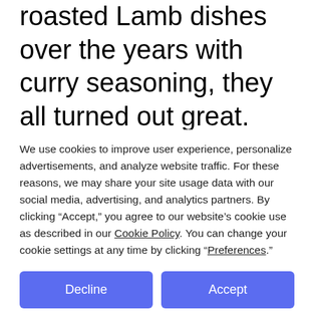roasted Lamb dishes over the years with curry seasoning, they all turned out great. But really wished if there was a way flavorful seasoning blend can be more infused in to every bit of the lamb evenly. If there is any good ways to do it without cutting that big piece of meat into
We use cookies to improve user experience, personalize advertisements, and analyze website traffic. For these reasons, we may share your site usage data with our social media, advertising, and analytics partners. By clicking “Accept,” you agree to our website’s cookie use as described in our Cookie Policy. You can change your cookie settings at any time by clicking “Preferences.”